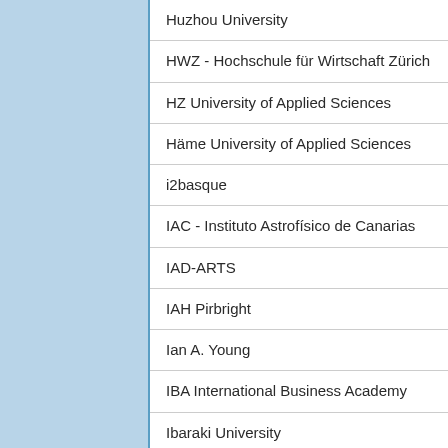| Huzhou University |
| HWZ - Hochschule für Wirtschaft Zürich |
| HZ University of Applied Sciences |
| Häme University of Applied Sciences |
| i2basque |
| IAC - Instituto Astrofísico de Canarias |
| IAD-ARTS |
| IAH Pirbright |
| Ian A. Young |
| IBA International Business Academy |
| Ibaraki University |
| Ibn Haldun University |